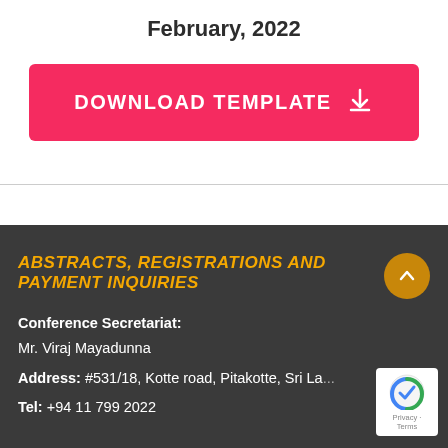February, 2022
[Figure (other): Pink download template button with download arrow icon]
ABSTRACTS, REGISTRATIONS AND PAYMENT INQUIRIES
Conference Secretariat: Mr. Viraj Mayadunna
Address: #531/18, Kotte road, Pitakotte, Sri La...
Tel: +94 11 799 2022